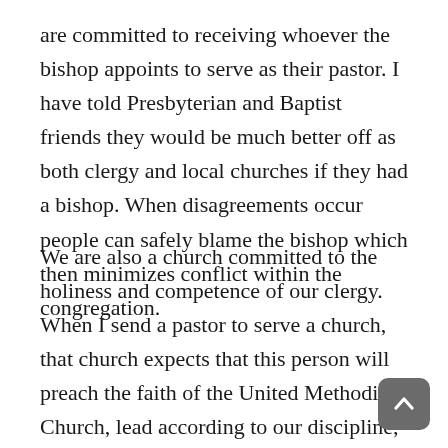are committed to receiving whoever the bishop appoints to serve as their pastor. I have told Presbyterian and Baptist friends they would be much better off as both clergy and local churches if they had a bishop. When disagreements occur people can safely blame the bishop which then minimizes conflict within the congregation.
We are also a church committed to the holiness and competence of our clergy. When I send a pastor to serve a church, that church expects that this person will preach the faith of the United Methodist Church, lead according to our discipline, and will have the character and behavior that fits our understanding of the Wesleyan way of discipleship.